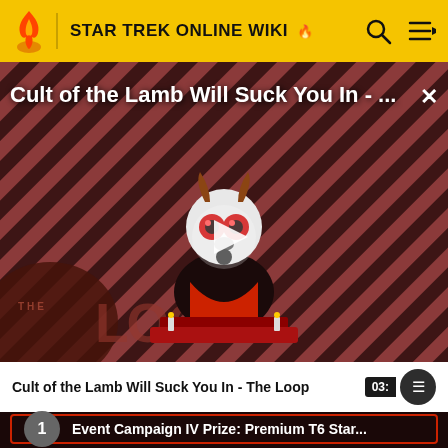STAR TREK ONLINE WIKI
[Figure (screenshot): Video thumbnail for 'Cult of the Lamb Will Suck You In - The Loop' showing a cartoon lamb character on a red throne with diagonal red/dark stripe background and THE LOOP branding. A play button triangle is centered on the image.]
Cult of the Lamb Will Suck You In - The Loop
03:
1  Event Campaign IV Prize: Premium T6 Star...